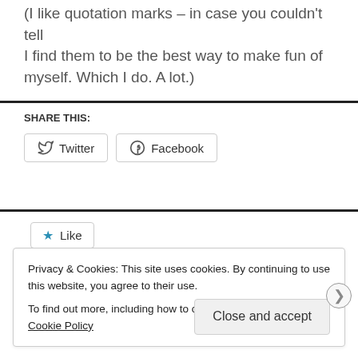(I like quotation marks – in case you couldn't tell
I find them to be the best way to make fun of myself. Which I do. A lot.)
SHARE THIS:
Twitter  Facebook
Like
Privacy & Cookies: This site uses cookies. By continuing to use this website, you agree to their use.
To find out more, including how to control cookies, see here: Cookie Policy
Close and accept